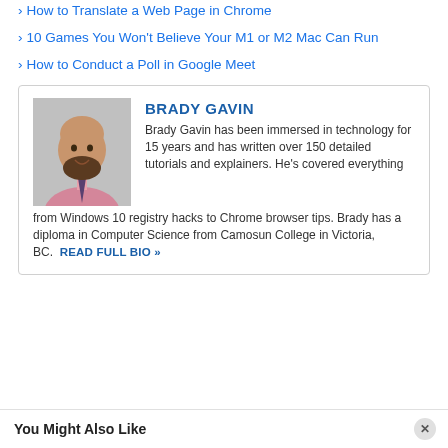› How to Translate a Web Page in Chrome
› 10 Games You Won't Believe Your M1 or M2 Mac Can Run
› How to Conduct a Poll in Google Meet
[Figure (photo): Author bio box with photo of Brady Gavin, a bald man with a beard wearing a pink shirt and dark tie, against a gray background.]
BRADY GAVIN
Brady Gavin has been immersed in technology for 15 years and has written over 150 detailed tutorials and explainers. He's covered everything from Windows 10 registry hacks to Chrome browser tips. Brady has a diploma in Computer Science from Camosun College in Victoria, BC. READ FULL BIO »
You Might Also Like